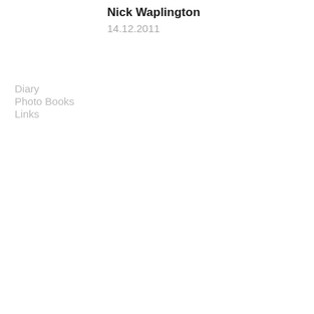Nick Waplington
14.12.2011
Diary
Photo Books
Links